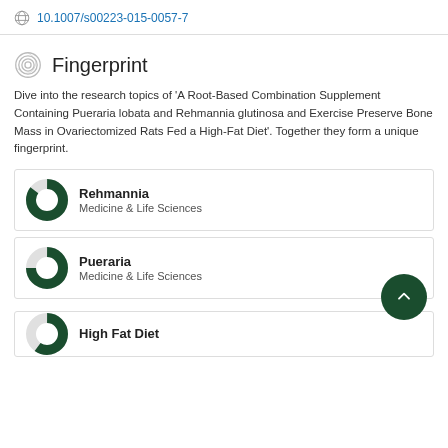10.1007/s00223-015-0057-7
Fingerprint
Dive into the research topics of 'A Root-Based Combination Supplement Containing Pueraria lobata and Rehmannia glutinosa and Exercise Preserve Bone Mass in Ovariectomized Rats Fed a High-Fat Diet'. Together they form a unique fingerprint.
Rehmannia
Medicine & Life Sciences
Pueraria
Medicine & Life Sciences
High Fat Diet